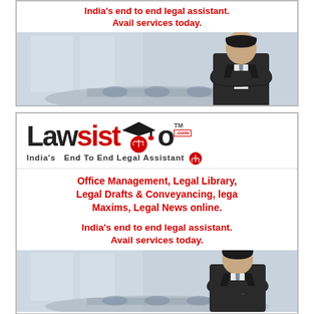[Figure (illustration): Top advertisement banner for Lawsisto.com showing text and blurred businessman in suit with arms crossed in a conference room setting]
India's end to end legal assistant. Avail services today.
[Figure (logo): Lawsisto.com logo with scales of justice and graduation cap icon, tagline: India's End To End Legal Assistant]
Office Management, Legal Library, Legal Drafts & Conveyancing, lega Maxims, Legal News online.
India's end to end legal assistant. Avail services today.
[Figure (illustration): Bottom portion of Lawsisto advertisement showing blurred businessman in suit with arms crossed in a conference room setting]